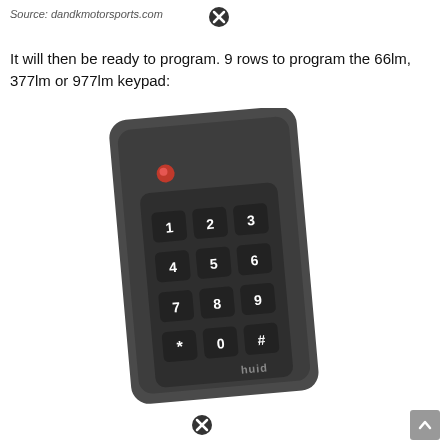Source: dandkmotorsports.com
It will then be ready to program. 9 rows to program the 66lm, 377lm or 977lm keypad:
[Figure (photo): A dark grey HID keypad device with a red LED indicator light and 12 numbered buttons (1-9, *, 0, #) arranged in a 3x4 grid. The device has an HID logo at the bottom right.]